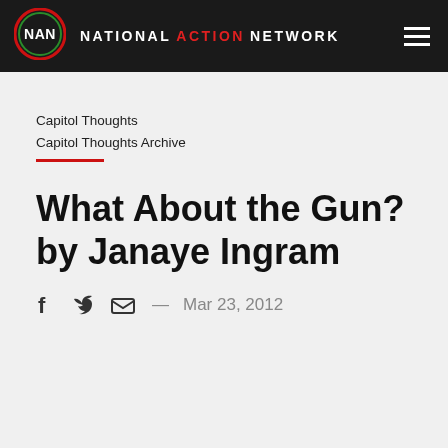NATIONAL ACTION NETWORK
Capitol Thoughts
Capitol Thoughts Archive
What About the Gun? by Janaye Ingram
Mar 23, 2012